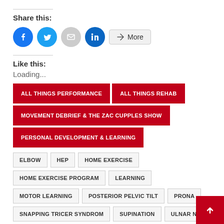Share this:
[Figure (infographic): Social share buttons: Facebook (blue circle), Twitter (light blue circle), Email (grey circle), LinkedIn (dark blue circle), and More button]
Like this:
Loading...
ALL THINGS PERFORMANCE
ALL THINGS REHAB
MOVEMENT DEBRIEF & THE ZAC CUPPLES SHOW
PERSONAL DEVELOPMENT & LEARNING
ELBOW
HEP
HOME EXERCISE
HOME EXERCISE PROGRAM
LEARNING
MOTOR LEARNING
POSTERIOR PELVIC TILT
PRONATION
SNAPPING TRICER SYNDROM
SUPINATION
ULNAR NERVE